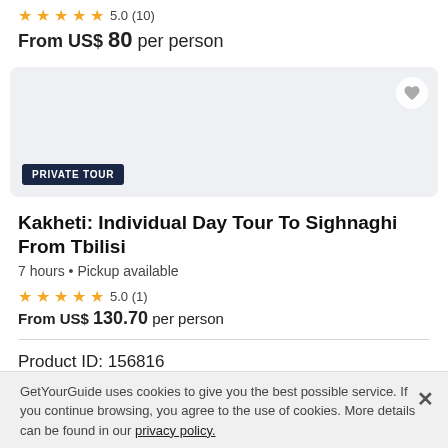5.0 (10) From US$ 80 per person
[Figure (screenshot): Tour listing card with light gray image placeholder, heart icon, and PRIVATE TOUR badge]
Kakheti: Individual Day Tour To Sighnaghi From Tbilisi
7 hours • Pickup available
5.0 (1) From US$ 130.70 per person
Product ID: 156816
GetYourGuide uses cookies to give you the best possible service. If you continue browsing, you agree to the use of cookies. More details can be found in our privacy policy.